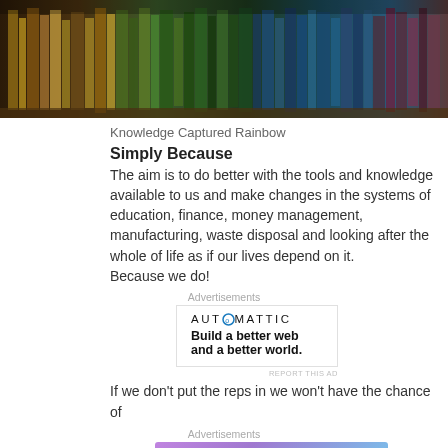[Figure (photo): Row of old books on a shelf, varying colors from brown/gold to green to blue/teal, viewed from the side showing spines.]
Knowledge Captured Rainbow
Simply Because
The aim is to do better with the tools and knowledge available to us and make changes in the systems of education, finance, money management, manufacturing, waste disposal and looking after the whole of life as if our lives depend on it.
Because we do!
Advertisements
[Figure (infographic): Automattic advertisement: AUT⊙MATTIC logo followed by tagline 'Build a better web and a better world.']
REPORT THIS AD
If we don't put the reps in we won't have the chance of
Advertisements
[Figure (infographic): WordPress.com advertisement with gradient purple-to-blue background: 'Simplified pricing for everything you need.' with WordPress.com logo.]
REPORT THIS AD